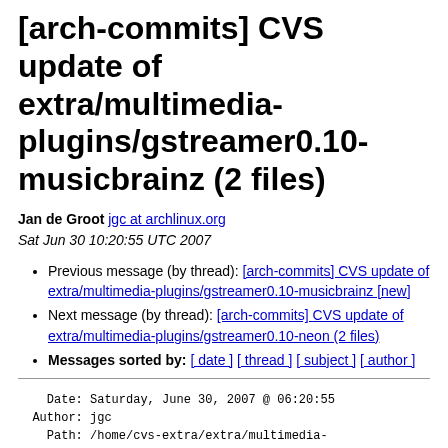[arch-commits] CVS update of extra/multimedia-plugins/gstreamer0.10-musicbrainz (2 files)
Jan de Groot jgc at archlinux.org
Sat Jun 30 10:20:55 UTC 2007
Previous message (by thread): [arch-commits] CVS update of extra/multimedia-plugins/gstreamer0.10-musicbrainz [new]
Next message (by thread): [arch-commits] CVS update of extra/multimedia-plugins/gstreamer0.10-neon (2 files)
Messages sorted by: [ date ] [ thread ] [ subject ] [ author ]
Date: Saturday, June 30, 2007 @ 06:20:55
  Author: jgc
    Path: /home/cvs-extra/extra/multimedia-plugins/gstreamer0.10-musicbrainz

   Added: PKGBUILD (1.1) badger5 (1.1)